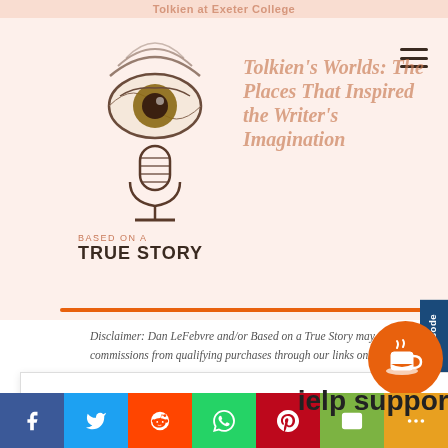Tolkien at Exeter College
[Figure (logo): Based on a True Story podcast logo: illustrated eye above a microphone, with text BASED ON A TRUE STORY below]
Tolkien's Worlds: The Places That Inspired the Writer's Imagination
Disclaimer: Dan LeFebvre and/or Based on a True Story may earn commissions from qualifying purchases through our links on this page.
We use cookies on our website to give you the most relevant experience by remembering your preferences and repeat visits. By clicking “Accept”, you consent to the use of ALL the cookies.
Cookie settings
ACCEPT
Request an Episode
f • Twitter • Reddit • WhatsApp • Pinterest • Email • More